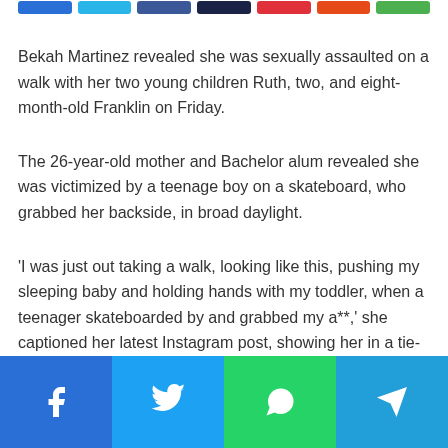Bekah Martinez revealed she was sexually assaulted on a walk with her two young children Ruth, two, and eight-month-old Franklin on Friday.
The 26-year-old mother and Bachelor alum revealed she was victimized by a teenage boy on a skateboard, who grabbed her backside, in broad daylight.
'I was just out taking a walk, looking like this, pushing my sleeping baby and holding hands with my toddler, when a teenager skateboarded by and grabbed my a**,' she captioned her latest Instagram post, showing her in a tie-dye long sleeve, brown shorts, messy bun and no makeup.
[Figure (other): Social share buttons bar at top: blue (Facebook), cyan (Twitter), dark blue, dark navy, red, orange-red, green]
[Figure (other): Social share buttons bar at bottom: Facebook (blue), Twitter (cyan), WhatsApp (green), Telegram (teal-blue)]